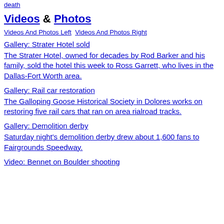death
Videos & Photos
Videos And Photos Left  Videos And Photos Right
Gallery: Strater Hotel sold
The Strater Hotel, owned for decades by Rod Barker and his family, sold the hotel this week to Ross Garrett, who lives in the Dallas-Fort Worth area.
Gallery: Rail car restoration
The Galloping Goose Historical Society in Dolores works on restoring five rail cars that ran on area rialroad tracks.
Gallery: Demolition derby
Saturday night's demolition derby drew about 1,600 fans to Fairgrounds Speedway.
Video: Bennet on Boulder shooting